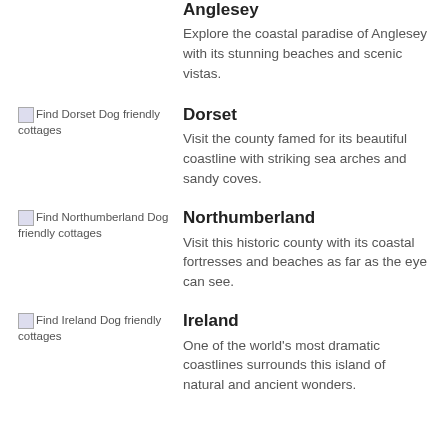Anglesey
Explore the coastal paradise of Anglesey with its stunning beaches and scenic vistas.
[Figure (photo): Find Dorset Dog friendly cottages]
Dorset
Visit the county famed for its beautiful coastline with striking sea arches and sandy coves.
[Figure (photo): Find Northumberland Dog friendly cottages]
Northumberland
Visit this historic county with its coastal fortresses and beaches as far as the eye can see.
[Figure (photo): Find Ireland Dog friendly cottages]
Ireland
One of the world's most dramatic coastlines surrounds this island of natural and ancient wonders.